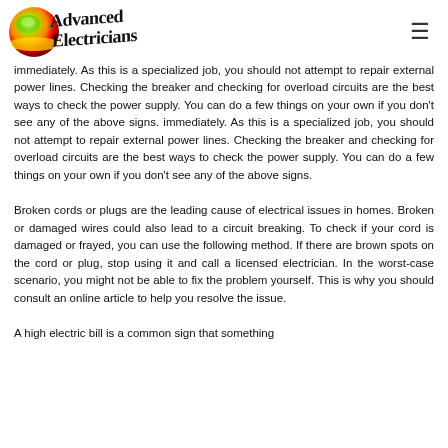[Figure (logo): Advanced Electricians logo with colorful sphere and handwritten-style text]
immediately. As this is a specialized job, you should not attempt to repair external power lines. Checking the breaker and checking for overload circuits are the best ways to check the power supply. You can do a few things on your own if you don't see any of the above signs.
Broken cords or plugs are the leading cause of electrical issues in homes. Broken or damaged wires could also lead to a circuit breaking. To check if your cord is damaged or frayed, you can use the following method. If there are brown spots on the cord or plug, stop using it and call a licensed electrician. In the worst-case scenario, you might not be able to fix the problem yourself. This is why you should consult an online article to help you resolve the issue.
A high electric bill is a common sign that something